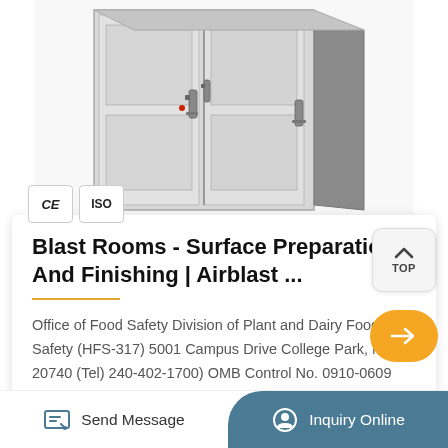[Figure (photo): Industrial blast room / steel cabinet unit with double doors and latches, photographed against white background. CE and ISO certification badges visible at bottom left of image.]
Blast Rooms - Surface Preparation And Finishing | Airblast ...
Office of Food Safety Division of Plant and Dairy Food Safety (HFS-317) 5001 Campus Drive College Park, MD 20740 (Tel) 240-402-1700) OMB Control No. 0910-0609
Send Message
Inquiry Online